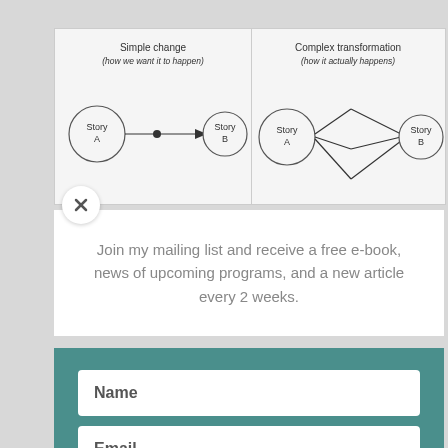[Figure (schematic): Two diagrams side by side: left shows 'Simple change (how we want it to happen)' with Story A circle connected by arrow through a dot to Story B circle; right shows 'Complex transformation (how it actually happens)' with Story A and Story B circles connected by branching lines.]
Join my mailing list and receive a free e-book, news of upcoming programs, and a new article every 2 weeks.
Name
Email
Subscribe